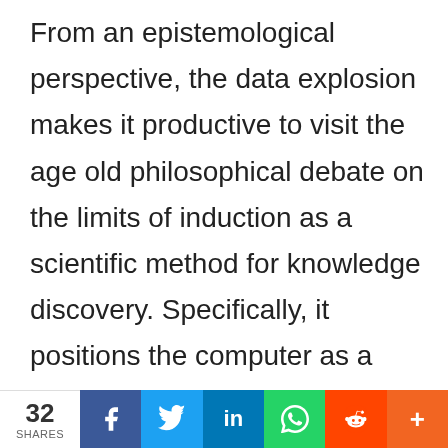From an epistemological perspective, the data explosion makes it productive to visit the age old philosophical debate on the limits of induction as a scientific method for knowledge discovery. Specifically, it positions the computer as a credible generator and tester of hypotheses by ameliorating some of the known errors associated with statistical induction. Machine learning, which is characterized by statistical induction aimed at generating robust predictive
32 SHARES | Facebook | Twitter | LinkedIn | WhatsApp | Reddit | More